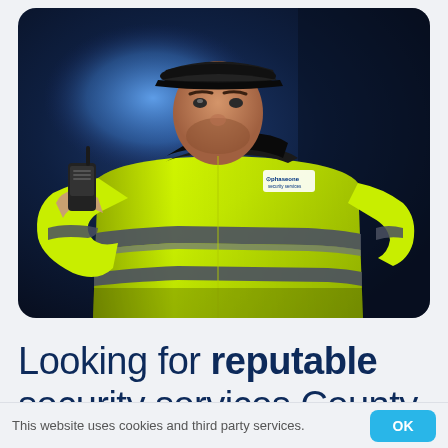[Figure (photo): A security guard wearing a high-visibility yellow jacket with gray reflective stripes and a 'phaseone' logo on the chest. The guard is holding a radio/walkie-talkie to his mouth, wearing a dark cap. The background is dark blue with a blurred blue light source.]
Looking for reputable security services County
This website uses cookies and third party services.